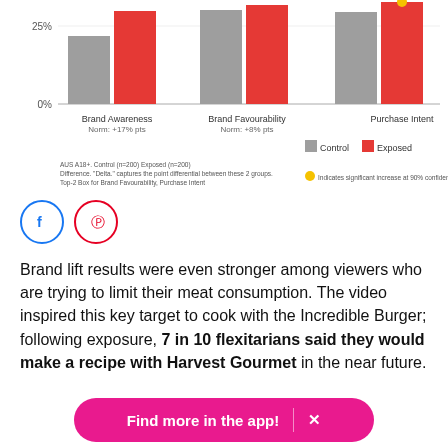[Figure (grouped-bar-chart): Brand Lift]
AUS A18+. Control (n=200) Exposed (n=200). Difference. 'Delta.' captures the point differential between these 2 groups. Top-2 Box for Brand Favourability, Purchase Intent. Indicates significant increase at 90% confidence
Brand lift results were even stronger among viewers who are trying to limit their meat consumption. The video inspired this key target to cook with the Incredible Burger; following exposure, 7 in 10 flexitarians said they would make a recipe with Harvest Gourmet in the near future.
Find more in the app!